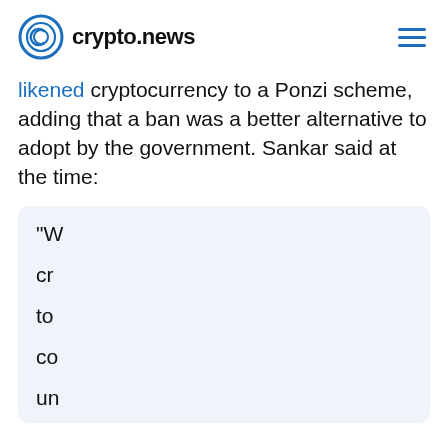crypto.news
likened cryptocurrency to a Ponzi scheme, adding that a ban was a better alternative to adopt by the government. Sankar said at the time:
"W... cr... to... co... un...
Our site uses cookies and similar technologies. By using our site you consent to the use of cookies. Find additional information on how we use cookies in our Cookie Policy.